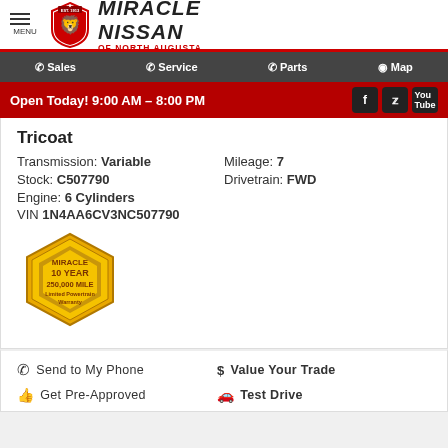[Figure (logo): Miracle Nissan of North Augusta dealership logo with shield emblem and dealer name]
Sales | Service | Parts | Map
Open Today! 9:00 AM – 8:00 PM
Tricoat
Transmission: Variable | Mileage: 7 | Stock: C507790 | Drivetrain: FWD | Engine: 6 Cylinders | VIN 1N4AA6CV3NC507790
[Figure (logo): Miracle 10 Year 250,000 Mile Limited Powertrain Warranty badge (gold hexagon)]
Send to My Phone | Value Your Trade | Get Pre-Approved | Test Drive